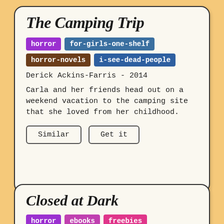The Camping Trip
horror | for-girls-one-shelf | horror-novels | i-see-dead-people
Derick Ackins-Farris - 2014
Carla and her friends head out on a weekend vacation to the camping site that she loved from her childhood.
Similar   Get it
Closed at Dark
horror | ebooks | freebies | mystery-suspense